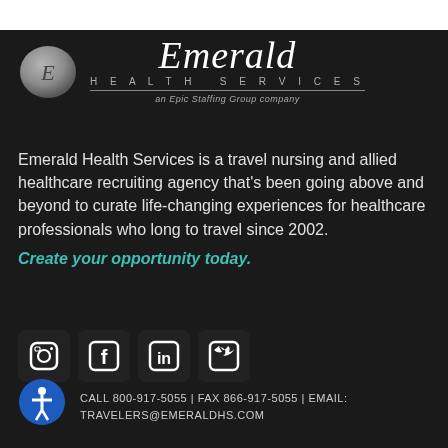[Figure (logo): Emerald Health Services logo with circular E emblem and script text]
Emerald Health Services is a travel nursing and allied healthcare recruiting agency that's been going above and beyond to curate life-changing experiences for healthcare professionals who long to travel since 2002. Create your opportunity today.
[Figure (infographic): Social media icons: Instagram, Facebook, LinkedIn, Twitter]
CALL 800-917-5055 | FAX 866-917-5055 | EMAIL: TRAVELERS@EMERALDHS.COM